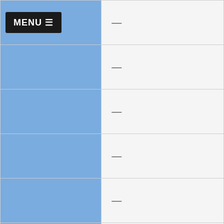| Category | Value |
| --- | --- |
| MENU ☰ | — |
|  | — |
|  | — |
|  | — |
|  | — |
|  | — |
|  | — |
|  | — |
|  | — |
Not Homeless
|  | Value |
| --- | --- |
| ? | 137 |